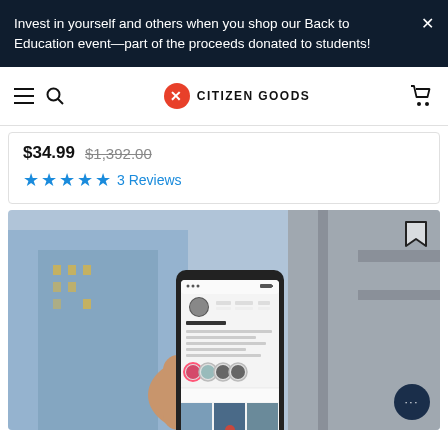Invest in yourself and others when you shop our Back to Education event—part of the proceeds donated to students!
CITIZEN GOODS
$34.99  $1,392.00  ★★★★★  3 Reviews
[Figure (photo): Person holding a smartphone showing an Instagram-like social media profile page, with city buildings visible in the background]